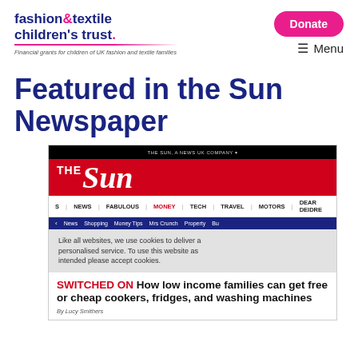fashion & textile children's trust. Financial grants for children of UK fashion and textile families | Donate | Menu
Featured in the Sun Newspaper
[Figure (screenshot): Screenshot of The Sun newspaper website showing logo, navigation bar with NEWS, FABULOUS, MONEY, TECH, TRAVEL, MOTORS, DEAR DEIDRE, sub-nav with News, Shopping, Money Tips, Mrs Crunch, Property, Bu... A cookie consent overlay partially visible. Article headline: SWITCHED ON How low income families can get free or cheap cookers, fridges, and washing machines]
SWITCHED ON How low income families can get free or cheap cookers, fridges, and washing machines